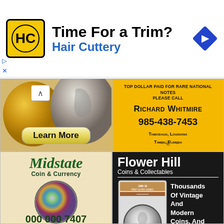[Figure (advertisement): Hair Cuttery ad banner with HC logo, 'Time For a Trim?' headline, 'Hair Cuttery' subtext in blue, blue navigation diamond icon]
[Figure (advertisement): Ancient coins image with 'Learn More' button on yellow background]
[Figure (advertisement): Richard Whitmire ad: 'Top Dollar Paid For Rare National Notes Please Call / Richard Whitmire / 985-438-7453 / Thibodaux, Louisiana / Tampa, Florida' on yellow background]
[Figure (advertisement): Midstate Coin & Currency ad: 'Buying US & Foreign Gold, Silver and Copper Coins' with iridescent coin image on parchment background]
[Figure (advertisement): Flower Hill Coins & Collectables ad: 'Thousands Of Vintage And Modern Coins, And A Whole Lot More' with NGC slab coin image on dark background]